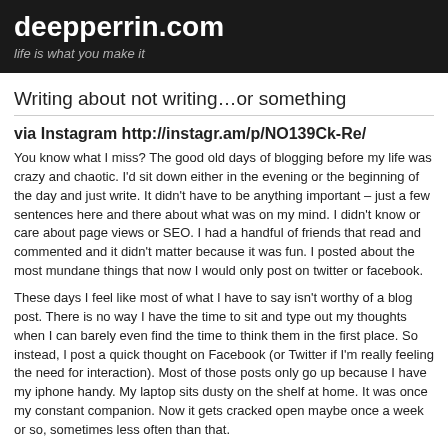deepperrin.com
life is what you make it
Writing about not writing…or something
via Instagram http://instagr.am/p/NO139Ck-Re/
You know what I miss? The good old days of blogging before my life was crazy and chaotic. I'd sit down either in the evening or the beginning of the day and just write. It didn't have to be anything important – just a few sentences here and there about what was on my mind. I didn't know or care about page views or SEO. I had a handful of friends that read and commented and it didn't matter because it was fun. I posted about the most mundane things that now I would only post on twitter or facebook.
These days I feel like most of what I have to say isn't worthy of a blog post. There is no way I have the time to sit and type out my thoughts when I can barely even find the time to think them in the first place. So instead, I post a quick thought on Facebook (or Twitter if I'm really feeling the need for interaction). Most of those posts only go up because I have my iphone handy. My laptop sits dusty on the shelf at home. It was once my constant companion. Now it gets cracked open maybe once a week or so, sometimes less often than that.
Many of my old blog friends have stopped writing too. Their blogs sit stagnant. I miss their words. I miss the connections. I miss the conversations. I keep up with a few of them on facebook. I watch as their